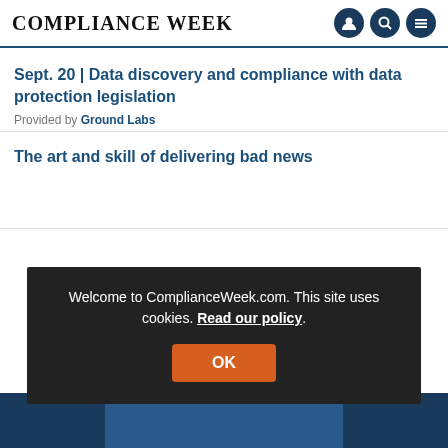COMPLIANCE WEEK
Sept. 20 | Data discovery and compliance with data protection legislation
Provided by Ground Labs
The art and skill of delivering bad news
Welcome to ComplianceWeek.com. This site uses cookies. Read our policy.